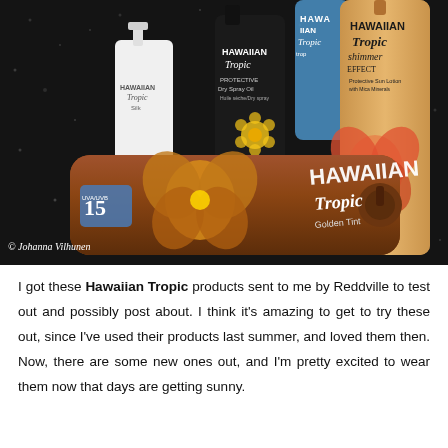[Figure (photo): Photo of several Hawaiian Tropic sunscreen/suntan products arranged on a dark glittery background. Products include Hawaiian Tropic Silk lotion, Hawaiian Tropic Protective Dry Spray Oil (dark bottle), Hawaiian Tropic Golden Tint SPF 15 (brown bottle lying down), Hawaiian Tropic Shimmer Effect SPF 25 lotion, and a blue Hawaiian Tropic bottle in the background. Photo credit: © Johanna Vilhunen.]
I got these Hawaiian Tropic products sent to me by Reddville to test out and possibly post about. I think it's amazing to get to try these out, since I've used their products last summer, and loved them then. Now, there are some new ones out, and I'm pretty excited to wear them now that days are getting sunny.